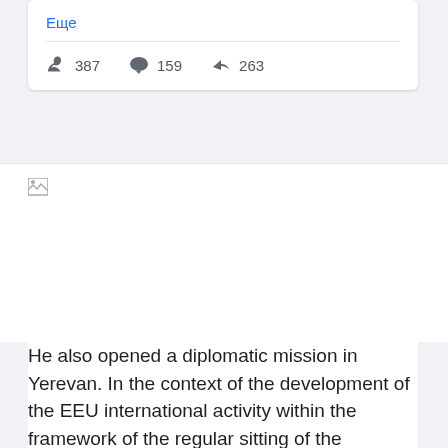Еще
387  159  263
[Figure (photo): Broken/loading image placeholder in a social media post card]
He also opened a diplomatic mission in Yerevan. In the context of the development of the EEU international activity within the framework of the regular sitting of the Eurasian Intergovernmental Council held in Moscow on October 25